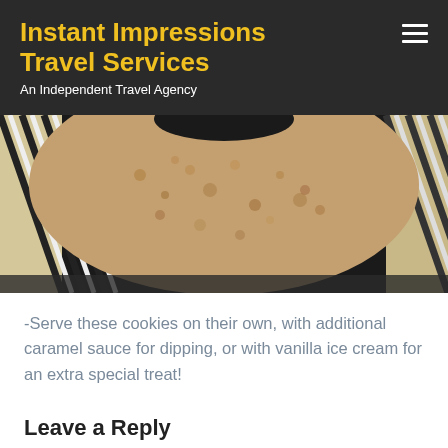Instant Impressions Travel Services
An Independent Travel Agency
[Figure (photo): Close-up photo of a cork trivet or coaster on a dark background, flanked by two rope-wrapped cylindrical objects with black and white striped pattern.]
-Serve these cookies on their own, with additional caramel sauce for dipping, or with vanilla ice cream for an extra special treat!
Leave a Reply
Your email address will not be published. Required fields